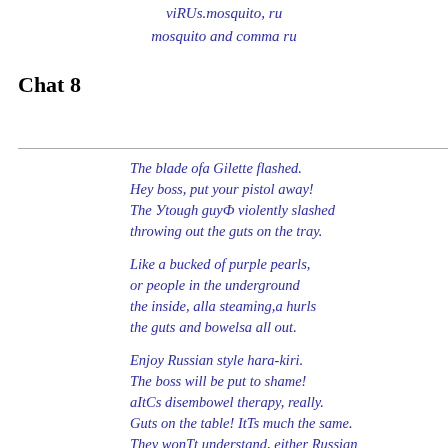viRUs.mosquito, ru
mosquito and comma ru
Chat 8
The blade ofa Gilette flashed.
Hey boss, put your pistol away!
The Уtough guyФ violently slashed
throwing out the guts on the tray.

Like a bucked of purple pearls,
or people in the underground
the inside, alla steaming,a hurls
the guts and bowelsa all out.

Enjoy Russian style hara-kiri.
The boss will be put to shame!
aItCs disembowel therapy, really.
Guts on the table! ItTs much the same.
They wonTt understand, either Russian
or Yiddish. ThereTs a way :
pulsating miscarriage is dashing